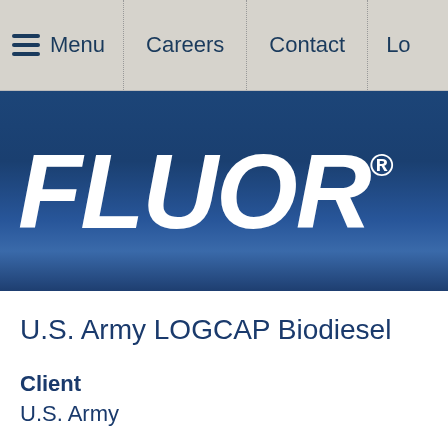Menu  Careers  Contact  Lo
[Figure (logo): Fluor corporation logo — white bold italic text FLUOR with registered trademark symbol on a dark blue gradient background]
U.S. Army LOGCAP Biodiesel
Client
U.S. Army